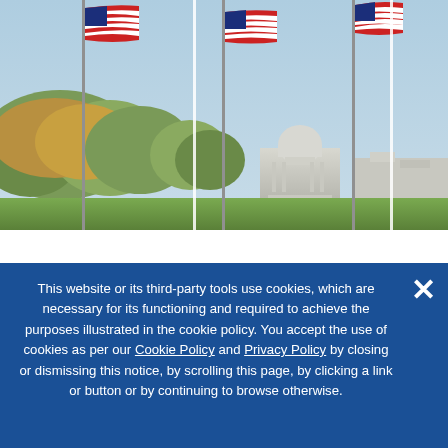[Figure (photo): Three American flags on tall poles in the foreground with the US Capitol building visible in the background, flanked by autumn trees. The image appears divided into three vertical panels by thin white lines.]
NATO in America
Identifying bold policy ideas that demonstrate
This website or its third-party tools use cookies, which are necessary for its functioning and required to achieve the purposes illustrated in the cookie policy. You accept the use of cookies as per our Cookie Policy and Privacy Policy by closing or dismissing this notice, by scrolling this page, by clicking a link or button or by continuing to browse otherwise.